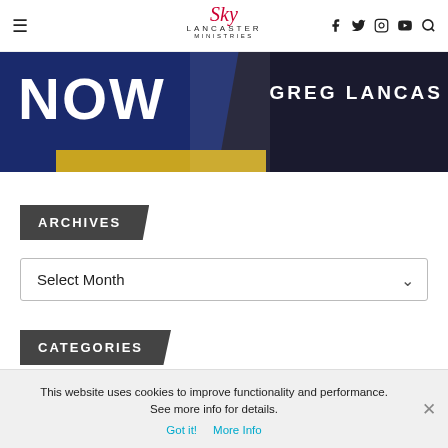Sky Lancaster Ministries - navigation header with hamburger menu, logo, and social icons (Facebook, Twitter, Instagram, YouTube, Search)
[Figure (photo): Dark blue banner image with large white text 'NOW' on the left and a diagonal dark banner on the right showing 'GREG LANCAS' in white capital letters]
ARCHIVES
Select Month
CATEGORIES
This website uses cookies to improve functionality and performance. See more info for details. Got it! More Info